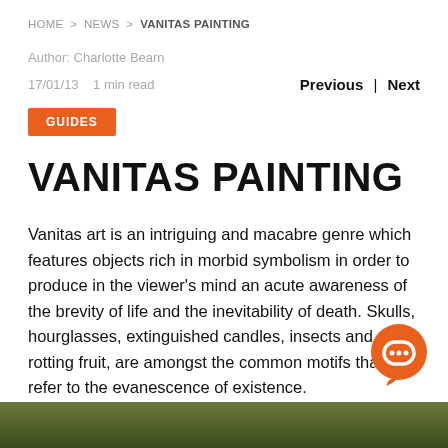HOME > NEWS > VANITAS PAINTING
Author: Charlotte Bearn
17/01/13   1 min read
Previous | Next
GUIDES
VANITAS PAINTING
Vanitas art is an intriguing and macabre genre which features objects rich in morbid symbolism in order to produce in the viewer's mind an acute awareness of the brevity of life and the inevitability of death. Skulls, hourglasses, extinguished candles, insects and rotting fruit, are amongst the common motifs that refer to the evanescence of existence.
[Figure (photo): Partial view of a dark-toned painting at the bottom of the page]